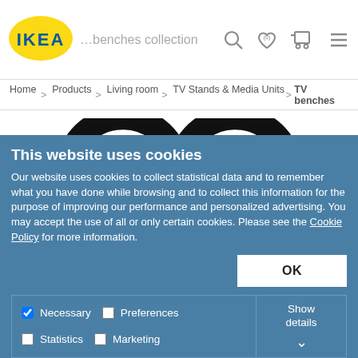[Figure (logo): IKEA logo — yellow oval with blue text IKEA]
…benches collection | search | favourites (0) | cart | menu
Home > Products > Living room > TV Stands & Media Units > TV benches
[Figure (illustration): Large heart icon outline in black]
Quantity: 1
This website uses cookies
Our website uses cookies to collect statistical data and to remember what you have done while browsing and to collect this information for the purpose of improving our performance and personalized advertising. You may accept the use of all or only certain cookies. Please see the Cookie Policy for more information.
OK
Necessary  Preferences  Statistics  Marketing  Show details